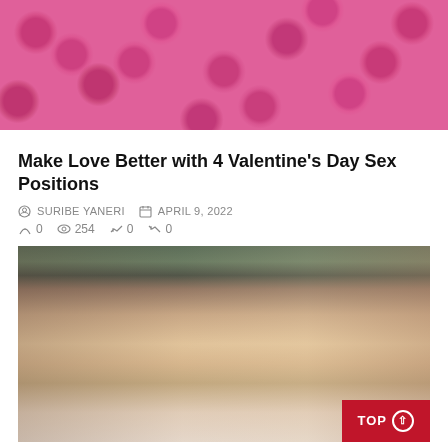[Figure (photo): Pink roses background with what appears to be a heart shape at the top]
Make Love Better with 4 Valentine’s Day Sex Positions
SURIBE YANERI   APRIL 9, 2022
0   254   0   0
[Figure (photo): A person lying on a bed with white sheets, upper body visible, arms stretched out]
How to Make a Man Cry in the Bedroom